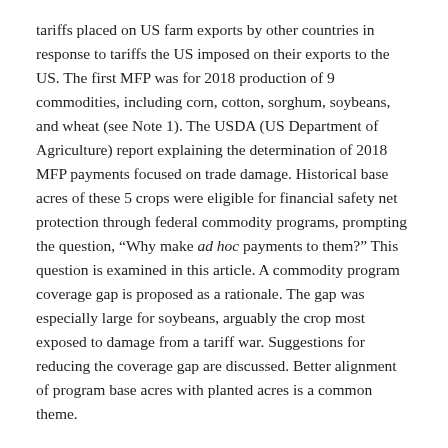tariffs placed on US farm exports by other countries in response to tariffs the US imposed on their exports to the US. The first MFP was for 2018 production of 9 commodities, including corn, cotton, sorghum, soybeans, and wheat (see Note 1). The USDA (US Department of Agriculture) report explaining the determination of 2018 MFP payments focused on trade damage. Historical base acres of these 5 crops were eligible for financial safety net protection through federal commodity programs, prompting the question, “Why make ad hoc payments to them?” This question is examined in this article. A commodity program coverage gap is proposed as a rationale. The gap was especially large for soybeans, arguably the crop most exposed to damage from a tariff war. Suggestions for reducing the coverage gap are discussed. Better alignment of program base acres with planted acres is a common theme.
MFP 2018 Payments: Soybean MFP 2018 payments were 86% of all MFP 2018 payments (see Figure 1). They were also 60% of all payments to the 5 program commodities by